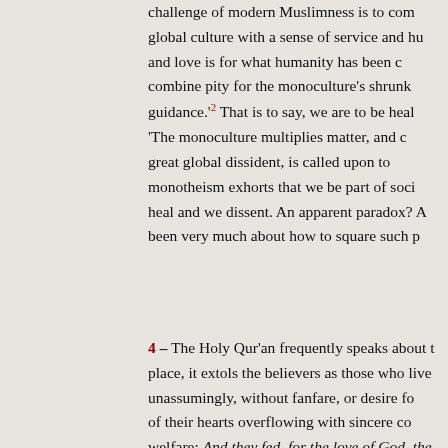challenge of modern Muslimness is to combine global culture with a sense of service and hu and love is for what humanity has been c combine pity for the monoculture's shrunke guidance.'2 That is to say, we are to be heale 'The monoculture multiplies matter, and ca great global dissident, is called upon to monotheism exhorts that we be part of socie heal and we dissent. An apparent paradox? A been very much about how to square such pa
4 – The Holy Qur'an frequently speaks about t place, it extols the believers as those who live unassumingly, without fanfare, or desire fo of their hearts overflowing with sincere co welfare: And they fed, for the love of God, the saying: 'We feed you for the sake of God. No thanks.' [Q.76:8-9] The Qur'an also says: We h [Q.17:70]. That being so, Islam reckons it as an